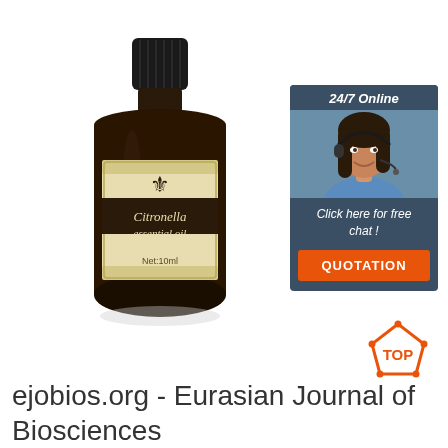[Figure (photo): Dark amber glass bottle of Citronella essential oil with a black ribbed cap, cream/gold label with fleur-de-lis symbol, text reads 'Citronella essential oil' and 'Net:10ml']
[Figure (infographic): Chat widget with dark blue/teal background. Top bar says '24/7 Online' in italic. Photo of smiling woman with headset. Text 'Click here for free chat!' and orange button labeled 'QUOTATION']
[Figure (logo): TOP icon with orange pentagon/house shape with dots and 'TOP' text in orange]
ejobios.org - Eurasian Journal of Biosciences